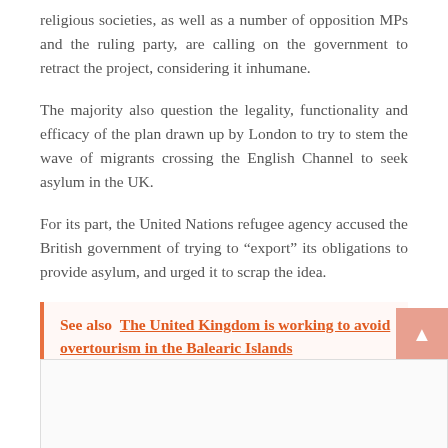religious societies, as well as a number of opposition MPs and the ruling party, are calling on the government to retract the project, considering it inhumane.
The majority also question the legality, functionality and efficacy of the plan drawn up by London to try to stem the wave of migrants crossing the English Channel to seek asylum in the UK.
For its part, the United Nations refugee agency accused the British government of trying to "export" its obligations to provide asylum, and urged it to scrap the idea.
See also  The United Kingdom is working to avoid overtourism in the Balearic Islands